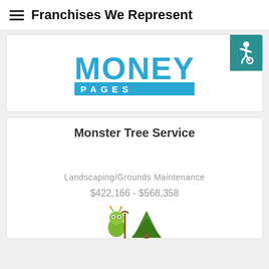Franchises We Represent
[Figure (logo): Money Pages logo — bold blue 'MONEY' text above a blue banner reading 'PAGES' in spaced caps]
Monster Tree Service
Landscaping/Grounds Maintenance
$422,166 - $568,358
[Figure (illustration): Monster Tree Service mascot — a cartoon green bug/monster character holding a staff next to a green pine tree]